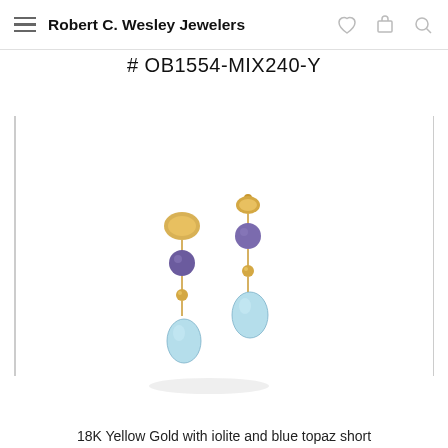Robert C. Wesley Jewelers
# OB1554-MIX240-Y
[Figure (photo): Two dangling earrings in 18K yellow gold with iolite and blue topaz gemstones, shown side by side on a white background. The earrings feature gold nugget accents, round purple-blue iolite stones, small gold beads, and a larger pear-shaped light blue topaz drop.]
18K Yellow Gold with iolite and blue topaz short